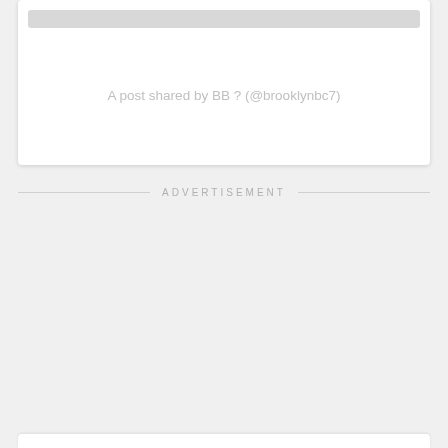A post shared by BB ? (@brooklynbc7)
ADVERTISEMENT